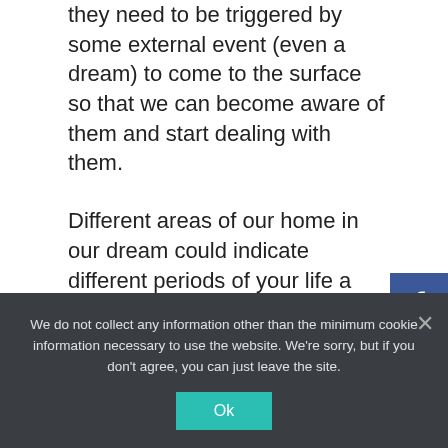they need to be triggered by some external event (even a dream) to come to the surface so that we can become aware of them and start dealing with them.
Different areas of our home in our dream could indicate different periods of your life as well as the events you have experienced. The appearance of your house and the state it was in in your dream describes your character and personal characteristics.
We do not collect any information other than the minimum cookie information necessary to use the website. We're sorry, but if you don't agree, you can just leave the site.